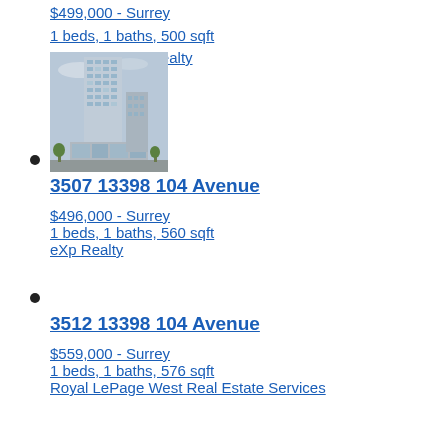$499,000 - Surrey
1 beds, 1 baths, 500 sqft
Dracco Pacific Realty
[Figure (photo): Exterior photo of a tall modern glass condominium tower in Surrey]
3507 13398 104 Avenue
$496,000 - Surrey
1 beds, 1 baths, 560 sqft
eXp Realty
3512 13398 104 Avenue
$559,000 - Surrey
1 beds, 1 baths, 576 sqft
Royal LePage West Real Estate Services